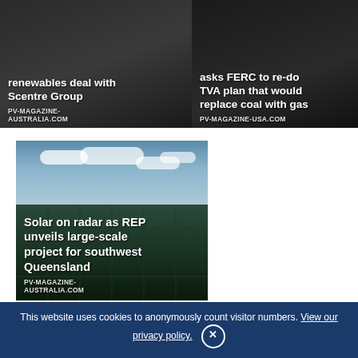[Figure (photo): News card with dark image background showing text overlay: 'renewables deal with Scentre Group' with source 'PV-MAGAZINE-AUSTRALIA.COM']
[Figure (photo): News card with dark image background showing text overlay: 'asks FERC to re-do TVA plan that would replace coal with gas' with source 'PV-MAGAZINE-USA.COM']
[Figure (photo): Large news card with solar panel field and sky photograph, overlay text: 'Solar on radar as REP unveils large-scale project for southwest Queensland' with source 'PV-MAGAZINE-AUSTRALIA.COM']
17 comments
Pingback: Recycling, Renewables and Sustainable Business 27 – EnerChemTek
This website uses cookies to anonymously count visitor numbers. View our privacy policy.